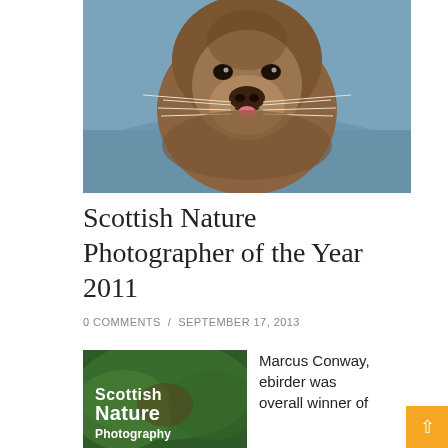[Figure (photo): Close-up photo of an otter looking at camera, wet fur and whiskers visible, with blue-grey water in background]
Scottish Nature Photographer of the Year 2011
0 COMMENTS / SEPTEMBER 17, 2013
[Figure (photo): Book cover showing 'Scottish Nature Photography' text overlaid on nature background]
Marcus Conway, ebirder was overall winner of